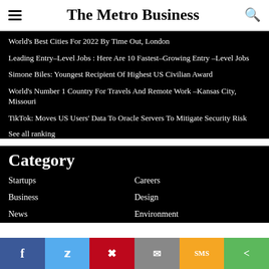The Metro Business
World's Best Cities For 2022 By Time Out, London
Leading Entry–Level Jobs : Here Are 10 Fastest–Growing Entry –Level Jobs
Simone Biles: Youngest Recipient Of Highest US Civilian Award
World's Number 1 Country For Travels And Remote Work –Kansas City, Missouri
TikTok: Moves US Users' Data To Oracle Servers To Mitigate Security Risk
See all ranking
Category
Startups
Careers
Business
Design
News
Environment